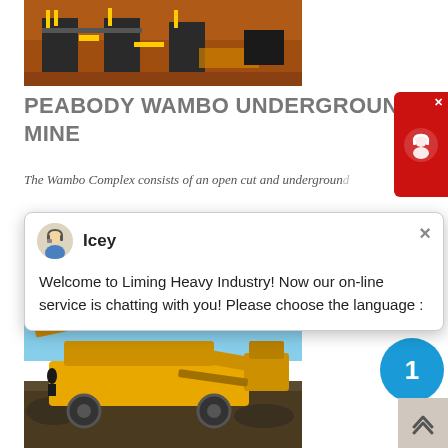[Figure (photo): Mining site photo showing heavy industrial machinery on red/orange earth, with large dark metal structures and yellow piping components]
PEABODY WAMBO UNDERGROUND MINE
The Wambo Complex consists of an open cut and underground...
get price
[Figure (photo): Yellow mobile crushing/screening equipment on a mining site with blue sky background and rocky ground]
Welcome to Liming Heavy Industry! Now our on-line service is chatting with you! Please choose the language :